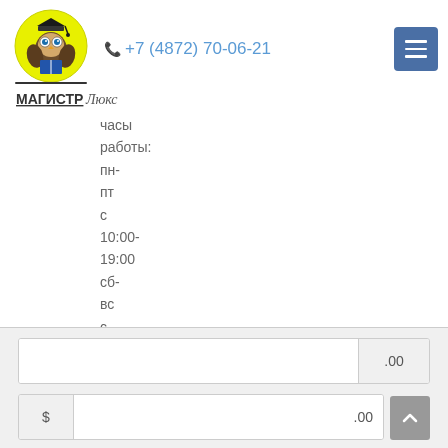+7 (4872) 70-06-21
[Figure (logo): Magistr Lux educational center logo — owl with graduation cap on yellow circular background, text МАГИСТР Люкс below]
часы работы: пн-пт с 10:00-19:00 сб-вс с 10:00-17:00